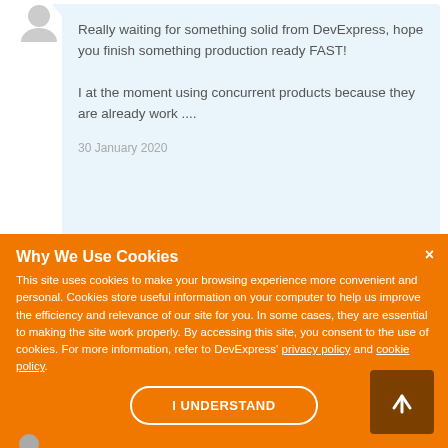[Figure (illustration): User avatar icon (grey silhouette) top left]
Really waiting for something solid from DevExpress, hope you finish something production ready FAST!

I at the moment using concurrent products because they are already work ....
30 January 2020
Why We Use Cookies
This site uses cookies to make your browsing experience more convenient and personal. Cookies store useful information on your computer to help us improve the efficiency and relevance of our site for you. In some cases, they are essential to making the site work properly. By accessing this site, you consent to the use of cookies. For more information, refer to DevExpress' privacy policy and cookie policy.
I UNDERSTAND
[Figure (illustration): Partially visible user avatar icon at bottom left]